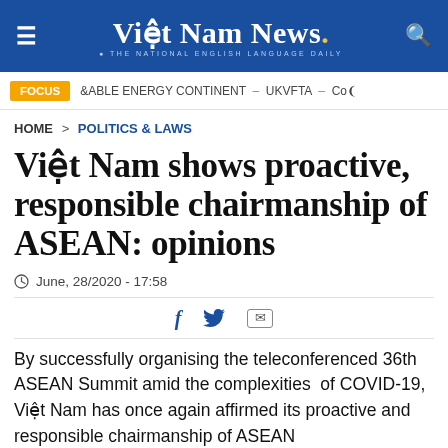Việt Nam News. THE NATIONAL ENGLISH LANGUAGE DAILY
FOCUS  ABLE ENERGY CONTINENT – UKVFTA – Cov
HOME > POLITICS & LAWS
Việt Nam shows proactive, responsible chairmanship of ASEAN: opinions
June, 28/2020 - 17:58
By successfully organising the teleconferenced 36th ASEAN Summit amid the complexities of COVID-19, Việt Nam has once again affirmed its proactive and responsible chairmanship of ASEAN